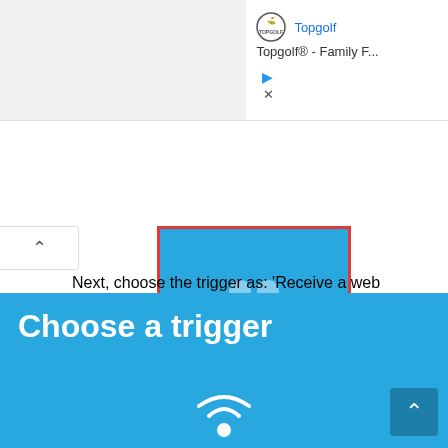[Figure (screenshot): Advertisement bar with Topgolf logo and name 'Topgolf® - Family F...' with Topgolf link, play and close icons]
[Figure (screenshot): Webhooks button highlighted with red border showing blue button with webhook icon and label 'Webhooks', with scroll-up arrow on left side]
Next, choose the trigger as: 'Receive a web request' by clicking on it. Whenever webhooks will receive a web request, some action will take place. This we will define in the 'THAT' section.
[Figure (screenshot): Blue 'Choose a trigger' banner with bold white text and a circular signal/trigger icon below, with dark blue scroll-up button at bottom right]